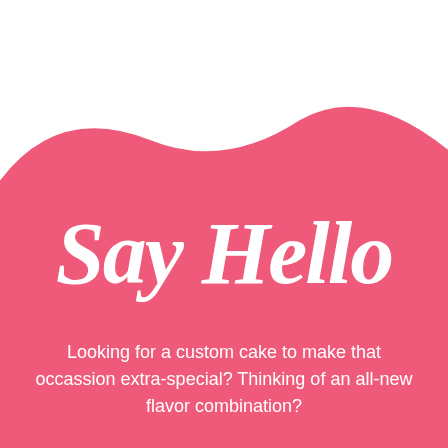[Figure (illustration): Pink curved blob shape filling the lower two-thirds of the page against a white background]
Say Hello
Looking for a custom cake to make that occassion extra-special? Thinking of an all-new flavor combination?